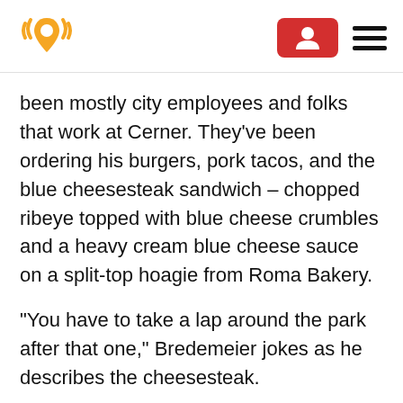[Logo: location pin with sound waves] [Account button] [Hamburger menu]
been mostly city employees and folks that work at Cerner. They've been ordering his burgers, pork tacos, and the blue cheesesteak sandwich – chopped ribeye topped with blue cheese crumbles and a heavy cream blue cheese sauce on a split-top hoagie from Roma Bakery.
“You have to take a lap around the park after that one,” Bredemeier jokes as he describes the cheesesteak.
While a couple of students from North Kansas City High School debate what to order at Helen’s,